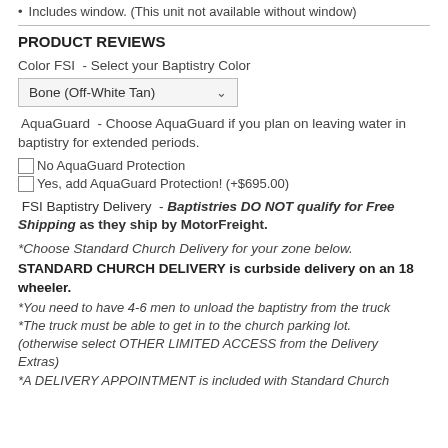Includes window. (This unit not available without window)
PRODUCT REVIEWS
Color FSI  - Select your Baptistry Color
Bone (Off-White Tan)
AquaGuard  - Choose AquaGuard if you plan on leaving water in baptistry for extended periods.
No AquaGuard Protection
Yes, add AquaGuard Protection! (+$695.00)
FSI Baptistry Delivery  - Baptistries DO NOT qualify for Free Shipping as they ship by MotorFreight.
*Choose Standard Church Delivery for your zone below.
STANDARD CHURCH DELIVERY is curbside delivery on an 18 wheeler.
*You need to have 4-6 men to unload the baptistry from the truck *The truck must be able to get in to the church parking lot. (otherwise select OTHER LIMITED ACCESS from the Delivery Extras) *A DELIVERY APPOINTMENT is included with Standard Church